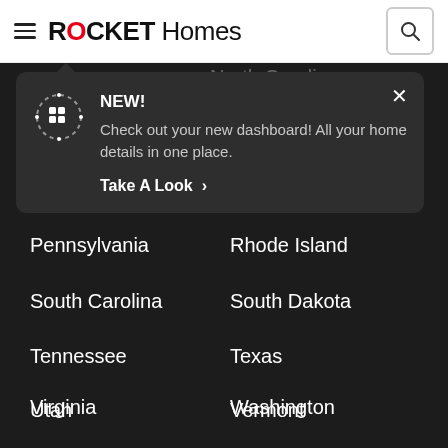ROCKET Homes
[Figure (screenshot): Rocket Homes website screenshot showing a dark dropdown navigation menu with a notification popup saying NEW! Check out your new dashboard! All your home details in one place. Take A Look >, overlaid on a list of US states including North Carolina, North..., Oklahoma, Oregon, Pennsylvania, Rhode Island, South Carolina, South Dakota, Tennessee, Texas, Utah, Vermont, Virginia, Washington]
NEW!
Check out your new dashboard! All your home details in one place.
Take A Look >
North Carolina
North...
Oklahoma
Oregon
Pennsylvania
Rhode Island
South Carolina
South Dakota
Tennessee
Texas
Utah
Vermont
Virginia
Washington